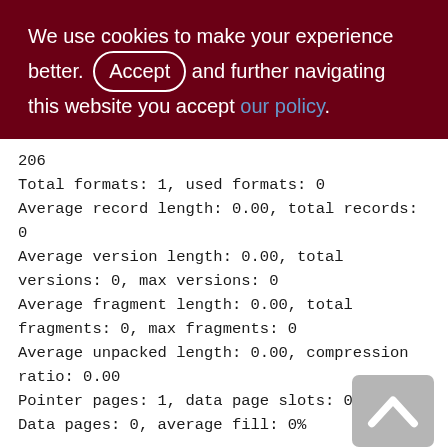We use cookies to make your experience better. By accepting and further navigating this website you accept our policy.
206
Total formats: 1, used formats: 0
Average record length: 0.00, total records: 0
Average version length: 0.00, total versions: 0, max versions: 0
Average fragment length: 0.00, total fragments: 0, max fragments: 0
Average unpacked length: 0.00, compression ratio: 0.00
Pointer pages: 1, data page slots: 0
Data pages: 0, average fill: 0%